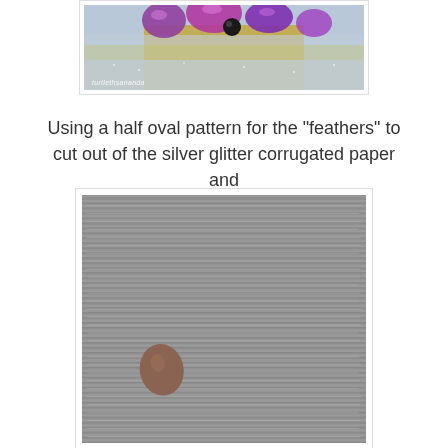[Figure (photo): Top portion of a craft project showing purple/iridescent gem-like decorations on a glittery silver/gold background, with a watermark at the bottom left.]
Using a half oval pattern for the "feathers" to cut out of the silver glitter corrugated paper and
[Figure (photo): Photo of silver corrugated paper (ridged texture) with a small brown oval/teardrop-shaped piece of cardstock placed on top, representing a half oval feather pattern template.]